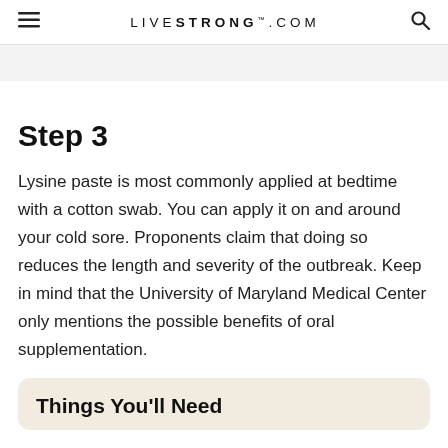LIVESTRONG.COM
Step 3
Lysine paste is most commonly applied at bedtime with a cotton swab. You can apply it on and around your cold sore. Proponents claim that doing so reduces the length and severity of the outbreak. Keep in mind that the University of Maryland Medical Center only mentions the possible benefits of oral supplementation.
Things You'll Need